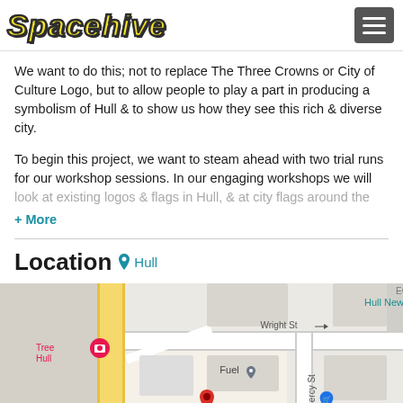Spacehive
We want to do this; not to replace The Three Crowns or City of Culture Logo, but to allow people to play a part in producing a symbolism of Hull & to show us how they see this rich & diverse city.
To begin this project, we want to steam ahead with two trial runs for our workshop sessions. In our engaging workshops we will look at existing logos & flags in Hull, & at city flags around the
+ More
Location  Hull
[Figure (map): Google Maps screenshot showing Hull city center area with street names Wright St, Percy St, Fuel label, Hull New label, Tree Hull label, and map pins including a red location pin, blue pin, and pink pin.]